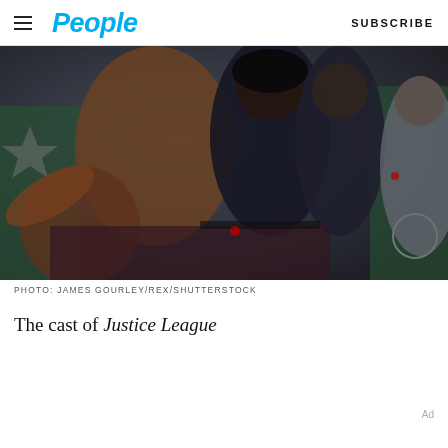People | SUBSCRIBE
[Figure (photo): The cast of Justice League at a premiere event, posing energetically in front of a backdrop with a star and Mercedes-Benz logo. One person in a brown suede jacket reaches toward the camera, another in a dark hoodie smiles widely, and a third in grey is partially visible.]
PHOTO: JAMES GOURLEY/REX/SHUTTERSTOCK
The cast of Justice League